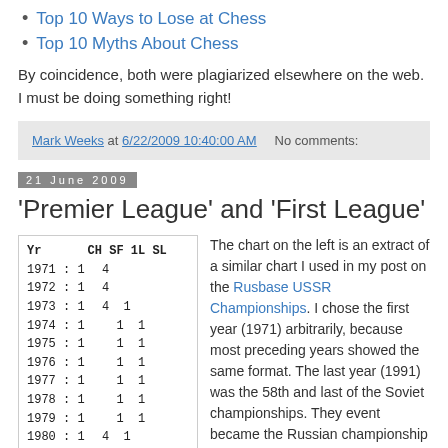Top 10 Ways to Lose at Chess
Top 10 Myths About Chess
By coincidence, both were plagiarized elsewhere on the web. I must be doing something right!
Mark Weeks at 6/22/2009 10:40:00 AM   No comments:
21 June 2009
'Premier League' and 'First League'
| Yr | CH | SF | 1L | SL |
| --- | --- | --- | --- | --- |
| 1971 : 1 | 4 |  |  |
| 1972 : 1 | 4 |  |  |
| 1973 : 1 | 4 | 1 |  |
| 1974 : 1 |  | 1 | 1 |
| 1975 : 1 |  | 1 | 1 |
| 1976 : 1 |  | 1 | 1 |
| 1977 : 1 |  | 1 | 1 |
| 1978 : 1 |  | 1 | 1 |
| 1979 : 1 |  | 1 | 1 |
| 1980 : 1 | 4 | 1 |  |
| 1981 : 1 | 4 | 1 |  |
The chart on the left is an extract of a similar chart I used in my post on the Rusbase USSR Championships. I chose the first year (1971) arbitrarily, because most preceding years showed the same format. The last year (1991) was the 58th and last of the Soviet championships. They event became the Russian championship in 1992.